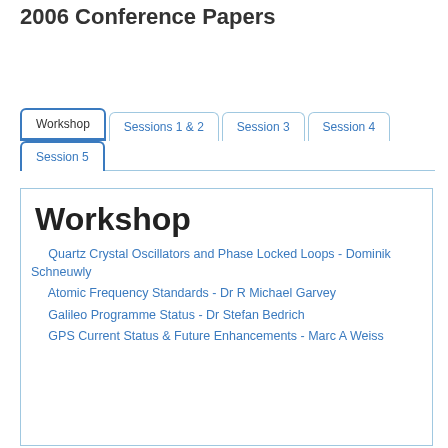2006 Conference Papers
[Figure (screenshot): Tab navigation bar with tabs: Workshop (active), Sessions 1 & 2, Session 3, Session 4, Session 5]
Workshop
Quartz Crystal Oscillators and Phase Locked Loops - Dominik Schneuwly
Atomic Frequency Standards - Dr R Michael Garvey
Galileo Programme Status - Dr Stefan Bedrich
GPS Current Status & Future Enhancements - Marc A Weiss